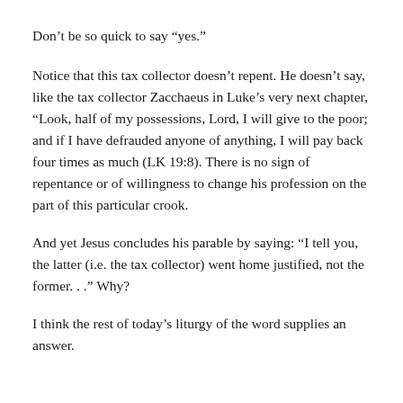Don’t be so quick to say “yes.”
Notice that this tax collector doesn’t repent. He doesn’t say, like the tax collector Zacchaeus in Luke’s very next chapter, “Look, half of my possessions, Lord, I will give to the poor; and if I have defrauded anyone of anything, I will pay back four times as much (LK 19:8). There is no sign of repentance or of willingness to change his profession on the part of this particular crook.
And yet Jesus concludes his parable by saying: “I tell you, the latter (i.e. the tax collector) went home justified, not the former. . .” Why?
I think the rest of today’s liturgy of the word supplies an answer.